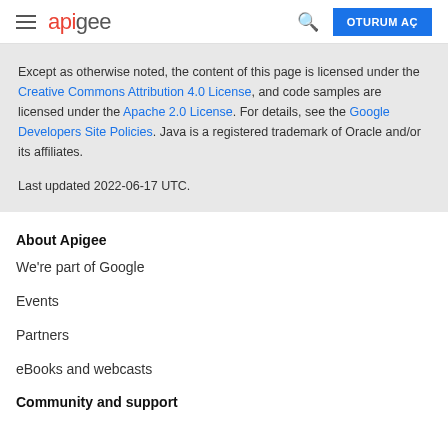apigee | OTURUM AÇ
Except as otherwise noted, the content of this page is licensed under the Creative Commons Attribution 4.0 License, and code samples are licensed under the Apache 2.0 License. For details, see the Google Developers Site Policies. Java is a registered trademark of Oracle and/or its affiliates.

Last updated 2022-06-17 UTC.
About Apigee
We're part of Google
Events
Partners
eBooks and webcasts
Community and support